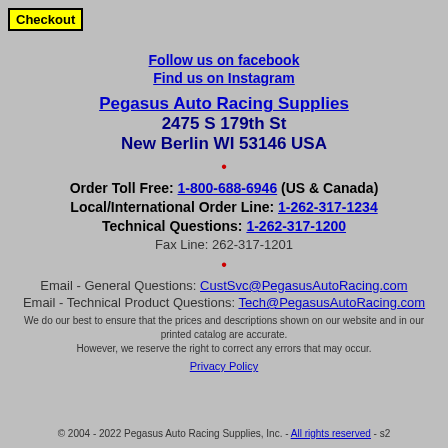Checkout
Follow us on facebook
Find us on Instagram
Pegasus Auto Racing Supplies
2475 S 179th St
New Berlin WI 53146 USA
Order Toll Free: 1-800-688-6946 (US & Canada)
Local/International Order Line: 1-262-317-1234
Technical Questions: 1-262-317-1200
Fax Line: 262-317-1201
Email - General Questions: CustSvc@PegasusAutoRacing.com
Email - Technical Product Questions: Tech@PegasusAutoRacing.com
We do our best to ensure that the prices and descriptions shown on our website and in our printed catalog are accurate. However, we reserve the right to correct any errors that may occur.
Privacy Policy
© 2004 - 2022 Pegasus Auto Racing Supplies, Inc. - All rights reserved - s2